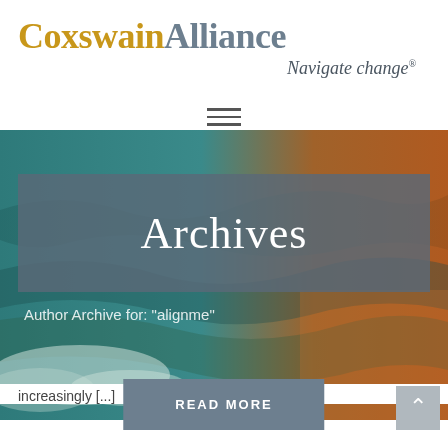[Figure (logo): CoxswainAlliance logo with 'Navigate change' tagline and registered trademark symbol]
[Figure (infographic): Hamburger menu icon (three horizontal lines) indicating a navigation menu]
[Figure (photo): Ocean water background image showing teal and rust/orange tones]
Archives
Author Archive for: "alignme"
increasingly [...]
READ MORE